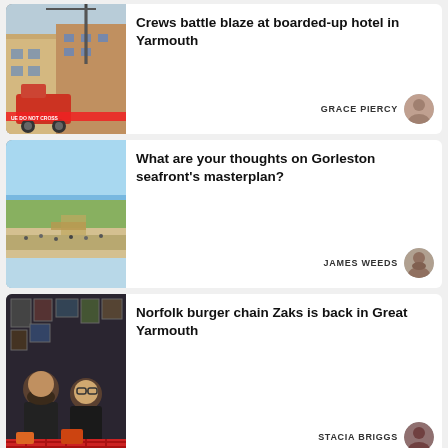[Figure (photo): Fire engine with crane at a boarded-up hotel building, police tape saying DO NOT CROSS]
Crews battle blaze at boarded-up hotel in Yarmouth
GRACE PIERCY
[Figure (photo): Aerial view of Gorleston seafront with beach, greenery, and people walking]
What are your thoughts on Gorleston seafront's masterplan?
JAMES WEEDS
[Figure (photo): Two men smiling inside a burger restaurant with movie posters on the wall]
Norfolk burger chain Zaks is back in Great Yarmouth
STACIA BRIGGS